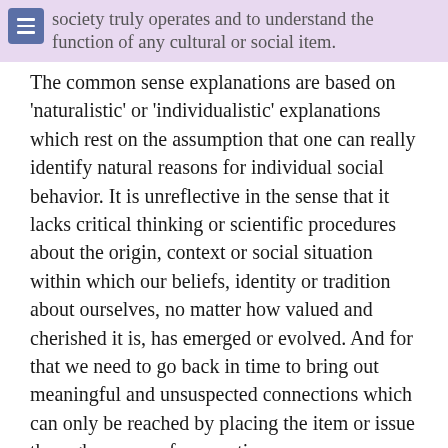society truly operates and to understand the function of any cultural or social item.
The common sense explanations are based on 'naturalistic' or 'individualistic' explanations which rest on the assumption that one can really identify natural reasons for individual social behavior. It is unreflective in the sense that it lacks critical thinking or scientific procedures about the origin, context or social situation within which our beliefs, identity or tradition about ourselves, no matter how valued and cherished it is, has emerged or evolved. And for that we need to go back in time to bring out meaningful and unsuspected connections which can only be reached by placing the item or issue through masses of connections.
Take the case of the economic activities carried out between the Mao traders and people in the